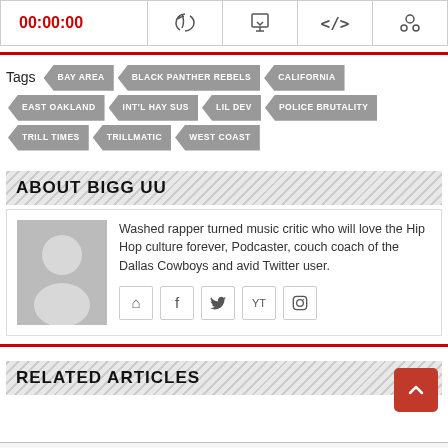00:00:00
Tags: BAY AREA • BLACK PANTHER REBELS • CALIFORNIA • EAST OAKLAND • INT'L HAY SUS • LIL DEV • POLICE BRUTALITY • TRILL TIMES • TRILLMATIC • WEST COAST
ABOUT BIGG UU
Washed rapper turned music critic who will love the Hip Hop culture forever, Podcaster, couch coach of the Dallas Cowboys and avid Twitter user.
RELATED ARTICLES